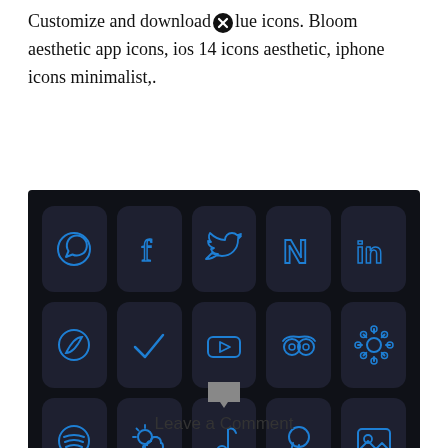Customize and download blue icons. Bloom aesthetic app icons, ios 14 icons aesthetic, iphone icons minimalist,.
[Figure (screenshot): A 5x3 grid of dark rounded-square app icons with blue neon-style outlines on a dark background. Row 1: WhatsApp, Facebook, Twitter, Netflix (N), LinkedIn. Row 2: Compass/leaf, Checkmark, YouTube play, TripAdvisor (owl eyes), Settings gear. Row 3: Spotify, Weather (sun/cloud), TikTok music note, Pinterest, Photos/image.]
Leave a Comment